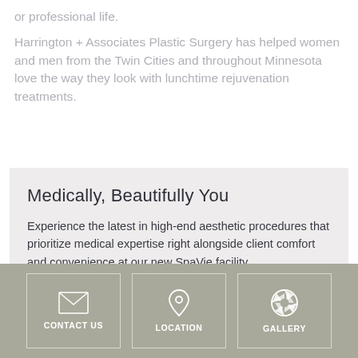or professional life.
Harrington + Associates Plastic Surgery has helped women and men from the Twin Cities and throughout Minnesota love the way they look with lunchtime rejuvenation treatments.
Medically, Beautifully You
Experience the latest in high-end aesthetic procedures that prioritize medical expertise right alongside client comfort and convenience at our new SpaVie facility.
CONTACT US
LOCATION
GALLERY